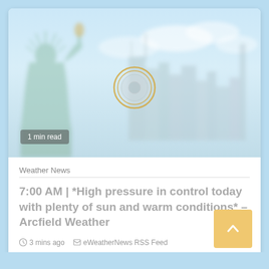[Figure (photo): Hero image of Statue of Liberty with New York City skyline in the background, faded/washed out appearance with a circular play/record button overlay in the center]
1 min read
Weather News
7:00 AM | *High pressure in control today with plenty of sun and warm conditions* – Arcfield Weather
3 mins ago   eWeatherNews RSS Feed